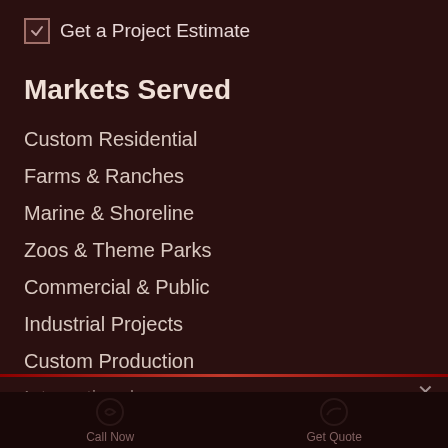✓ Get a Project Estimate
Markets Served
Custom Residential
Farms & Ranches
Marine & Shoreline
Zoos & Theme Parks
Commercial & Public
Industrial Projects
Custom Production
International... (partially visible)
We use cookies to ensure that we give you the best experience on our website.
Got it!
Call Now
Get Quote